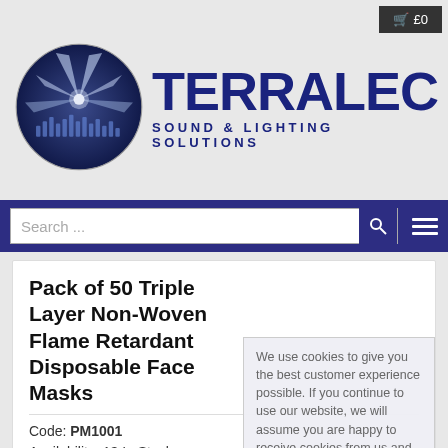[Figure (logo): Terralec Sound & Lighting Solutions logo with circular graphic (blue spotlight beams) and bold dark blue TERRALEC wordmark with tagline SOUND & LIGHTING SOLUTIONS]
£0 (cart button)
[Figure (screenshot): Navigation bar with search input and hamburger menu icon on dark blue background]
Pack of 50 Triple Layer Non-Woven Flame Retardant Disposable Face Masks
Code: PM1001
Availability: 13 In Stock
Triple Layer Face Mask
Non-Woven Polypropylene
Fire Retardant
We use cookies to give you the best customer experience possible. If you continue to use our website, we will assume you are happy to receive cookies from us and our partners. Find out more
OK